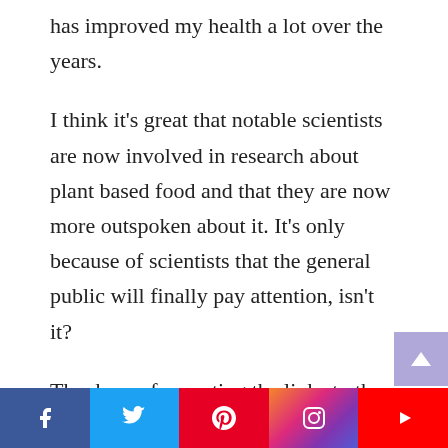has improved my health a lot over the years.
I think it's great that notable scientists are now involved in research about plant based food and that they are now more outspoken about it. It's only because of scientists that the general public will finally pay attention, isn't it?
Thank you for posting the links to the food summits! I had no idea that I still
Facebook | Twitter | Pinterest | Instagram | YouTube